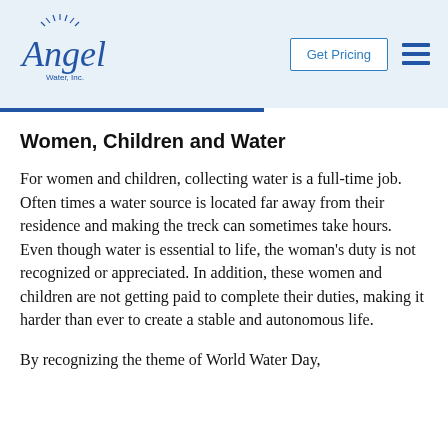Angel Water, Inc. — Get Pricing [navigation header]
Women, Children and Water
For women and children, collecting water is a full-time job. Often times a water source is located far away from their residence and making the treck can sometimes take hours. Even though water is essential to life, the woman's duty is not recognized or appreciated. In addition, these women and children are not getting paid to complete their duties, making it harder than ever to create a stable and autonomous life.
By recognizing the theme of World Water Day,